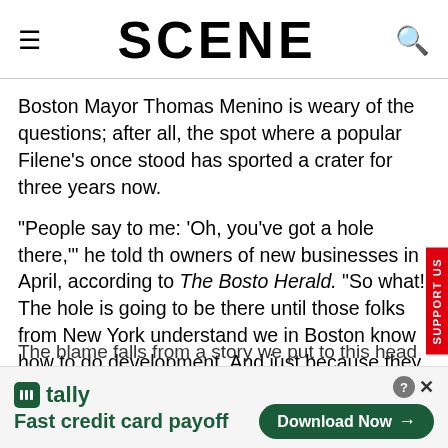SCENE
Boston Mayor Thomas Menino is weary of the questions; after all, the spot where a popular Filene's once stood has sported a crater for three years now.
"People say to me: 'Oh, you've got a hole there,'" he told the owners of new businesses in April, according to The Boston Herald. "So what! The hole is going to be there until those folks from New York understand we in Boston know how to do development. And just because they can't get development done, that's not my fault."
[Figure (infographic): Tally advertisement banner: Fast credit card payoff, with Download Now button]